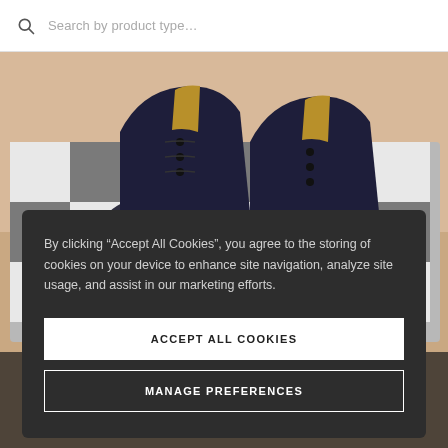Search by product type...
[Figure (photo): Overhead view of dark leather dress shoes placed on a black and white checkered tile surface, on a beige/tan background. The shoe box or storage unit is partially visible below.]
By clicking “Accept All Cookies”, you agree to the storing of cookies on your device to enhance site navigation, analyze site usage, and assist in our marketing efforts.
ACCEPT ALL COOKIES
MANAGE PREFERENCES